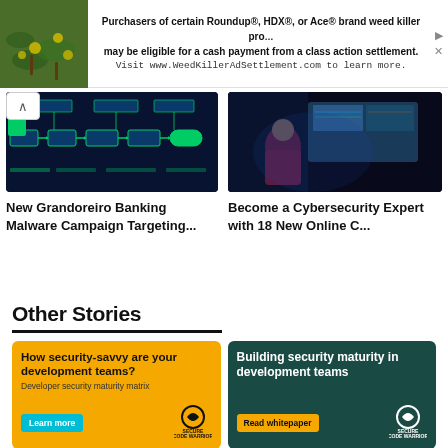[Figure (infographic): Advertisement banner for Roundup/HDX/Ace weed killer class action settlement with plant image background]
Purchasers of certain Roundup®, HDX®, or Ace® brand weed killer products may be eligible for a cash payment from a class action settlement. Visit www.WeedKillerAdSettlement.com to learn more.
[Figure (infographic): Grandoreiro Banking Malware Campaign diagram with green flowchart arrows on dark blue background]
[Figure (photo): Person working at multiple computer monitors in dark cybersecurity environment with blue lighting]
New Grandoreiro Banking Malware Campaign Targeting...
Become a Cybersecurity Expert with 18 New Online C...
Other Stories
[Figure (infographic): Yellow Secure Code Warrior ad: How security-savvy are your development teams? Developer security maturity matrix. Learn more button.]
[Figure (infographic): Teal Secure Code Warrior ad: Building security maturity in development teams. Read whitepaper button.]
Make software security a
Uncover the secure developer